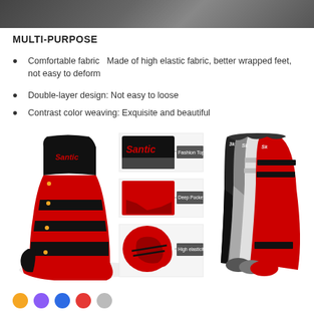[Figure (photo): Top banner image showing socks/shoes on a dark background]
MULTI-PURPOSE
Comfortable fabric   Made of high elastic fabric, better wrapped feet, not easy to deform
Double-layer design: Not easy to loose
Contrast color weaving: Exquisite and beautiful
[Figure (photo): Left: Red and black Santic cycling sock with diagram callouts for Fashion Top, Deep Pocket Y Heel, and High elasticity. Right: Group of three Santic socks in black/grey/white and red colorways.]